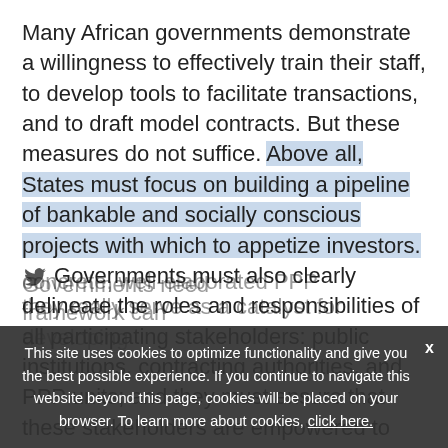Many African governments demonstrate a willingness to effectively train their staff, to develop tools to facilitate transactions, and to draft model contracts. But these measures do not suffice. Above all, States must focus on building a pipeline of bankable and socially conscious projects with which to appetize investors. [twitter] Governments must also clearly delineate the roles and responsibilities of all participating stakeholders: public institutions, contracting authorities, and PPP units; and they must ensure that these stakeholders are empowered to deliver projects.
Governments need concrete, well-elaborated PPP framework can they really serve as a catalyst for developing
This site uses cookies to optimize functionality and give you the best possible experience. If you continue to navigate this website beyond this page, cookies will be placed on your browser. To learn more about cookies, click here.